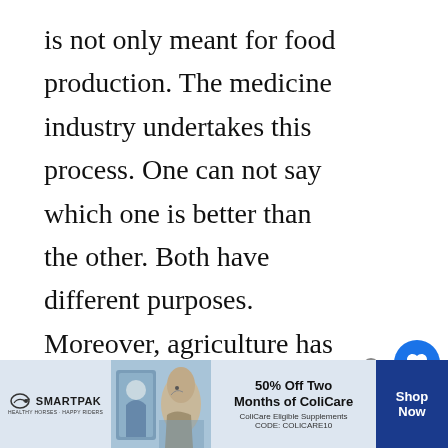is not only meant for food production. The medicine industry undertakes this process. One can not say which one is better than the other. Both have different purposes. Moreover, agriculture has kept us sustained, and we are dependent on the system for our food.

The two terms can not be used interchangeably. They differ on
[Figure (other): Website UI elements: heart/like button (blue circle with heart icon), count '1', share button, and 'WHAT'S NEXT' navigation element with circular thumbnail and 'post_title' text]
[Figure (other): Advertisement banner for SmartPak featuring '50% Off Two Months of ColiCare' with ColiCare Eligible Supplements and CODE: COLICARE10, with Shop Now button]